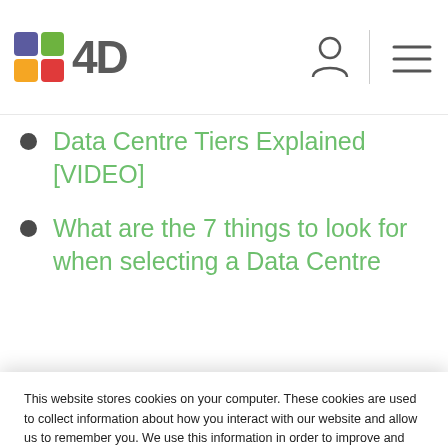[Figure (logo): 4D company logo with colorful grid icon and '4D' text]
Data Centre Tiers Explained [VIDEO]
What are the 7 things to look for when selecting a Data Centre
This website stores cookies on your computer. These cookies are used to collect information about how you interact with our website and allow us to remember you. We use this information in order to improve and customize your browsing experience and for analytics and metrics about our visitors both on this website and other media. To find out more about the cookies we use, see our Privacy Policy.
If you decline, your information won't be tracked when you visit this website. A single cookie will be used in your browser to remember your preference not to be tracked.